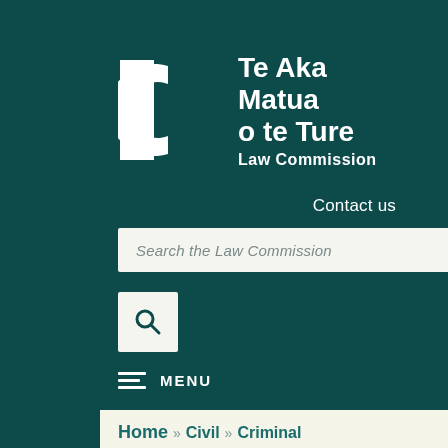[Figure (logo): New Zealand Law Commission logo — Te Aka Matua o te Ture Law Commission, white on dark teal background]
Contact us
Search the Law Commission
[Figure (other): Search icon (magnifying glass) in a white box]
MENU
Home » Civil » Criminal » Awaiting Government Response » Human Rights » Public » Our projects